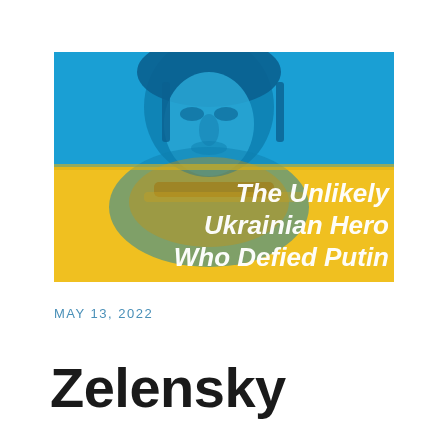[Figure (illustration): Cover image showing a soldier's face with a Ukrainian flag overlay — top half blue, bottom half yellow — with white italic text reading 'The Unlikely Ukrainian Hero Who Defied Putin']
MAY 13, 2022
Zelensky